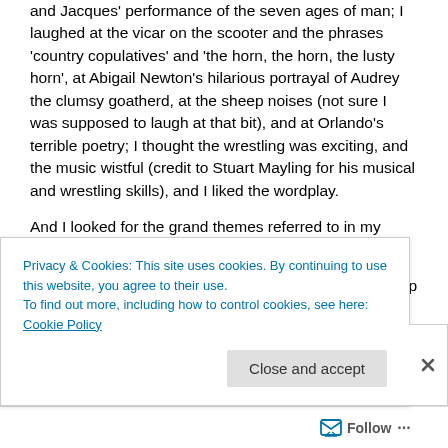and Jacques' performance of the seven ages of man; I laughed at the vicar on the scooter and the phrases 'country copulatives' and 'the horn, the horn, the lusty horn', at Abigail Newton's hilarious portrayal of Audrey the clumsy goatherd, at the sheep noises (not sure I was supposed to laugh at that bit), and at Orlando's terrible poetry; I thought the wrestling was exciting, and the music wistful (credit to Stuart Mayling for his musical and wrestling skills), and I liked the wordplay.
And I looked for the grand themes referred to in my researches on Google.
Echoes of Ecclesiastes, echoes of Arcadia – oh it's deep enough in places, and the more intellectual types in Shakespeare's audience would have found plenty to
Privacy & Cookies: This site uses cookies. By continuing to use this website, you agree to their use.
To find out more, including how to control cookies, see here: Cookie Policy